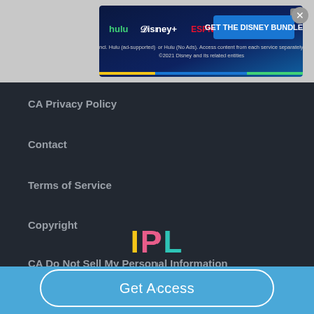[Figure (screenshot): Disney Bundle advertisement banner showing Hulu, Disney+, and ESPN+ logos with text 'GET THE DISNEY BUNDLE'. Subtext: 'Incl. Hulu (ad-supported) or Hulu (No Ads). Access content from each service separately. ©2021 Disney and its related entities']
CA Privacy Policy
Contact
Terms of Service
Copyright
CA Do Not Sell My Personal Information
[Figure (logo): IPL logo with colored letters: I in yellow, P in pink/red, L in teal/cyan]
Get Access